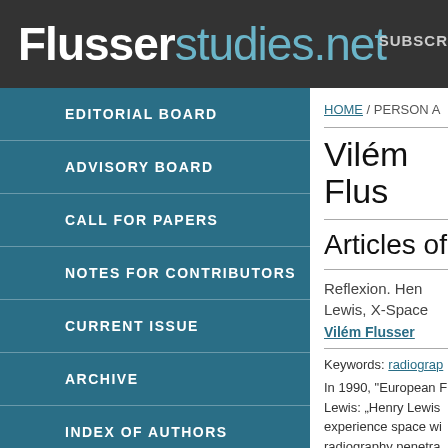Flusserstudies.net  SUBSCR
EDITORIAL BOARD
ADVISORY BOARD
CALL FOR PAPERS
NOTES FOR CONTRIBUTORS
CURRENT ISSUE
ARCHIVE
INDEX OF AUTHORS
REVIEWS AND CONFERENCE REPORTS
SEARCH
HOME / PERSON A
Vilém Flus
Articles of
Reflexion. Hen Lewis, X-Space
Vilém Flusser
Keywords: radiograp
In 1990, "European F Lewis: „Henry Lewis experience space wi radiography penetra